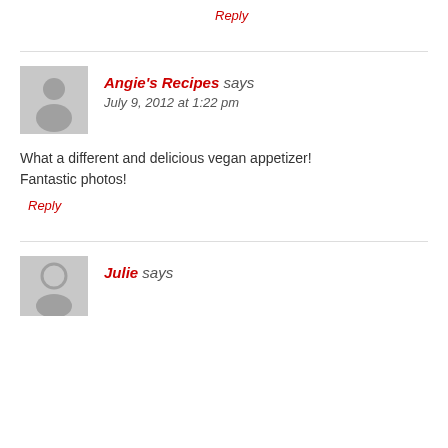Reply
Angie's Recipes says
July 9, 2012 at 1:22 pm
What a different and delicious vegan appetizer! Fantastic photos!
Reply
Julie says